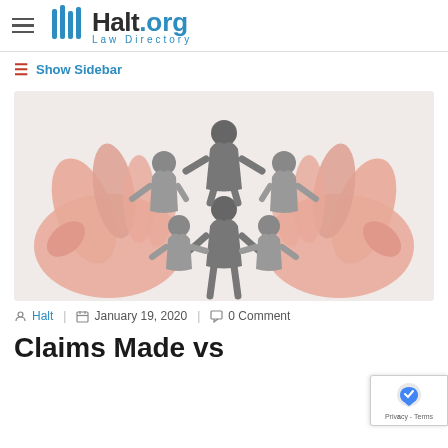Halt.org Law Directory
Show Sidebar
[Figure (photo): Two hands cupping a circle of paper cut-out human figures holding hands, symbolizing community protection or group legal action.]
Halt | January 19, 2020 | 0 Comment
Claims Made vs